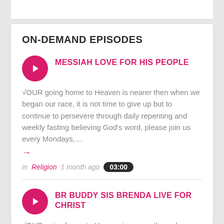ON-DEMAND EPISODES
MESSIAH LOVE FOR HIS PEOPLE
√OUR going home to Heaven is nearer then when we began our race, it is not time to give up but to continue to persevere through daily repenting and weekly fasting believing God's word, please join us every Mondays,…
in Religion  1 month ago  03:00
BR BUDDY SIS BRENDA LIVE FOR CHRIST
√OUR going home to Heaven is nearer then when we began our race, it is not time to give up but to continue to